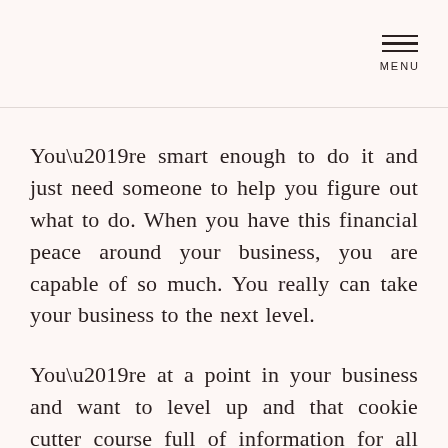MENU
You’re smart enough to do it and just need someone to help you figure out what to do. When you have this financial peace around your business, you are capable of so much. You really can take your business to the next level.
You’re at a point in your business and want to level up and that cookie cutter course full of information for all types of businesses isn’t going to do it for you. You don’t have the time to sort through what applies to you as an